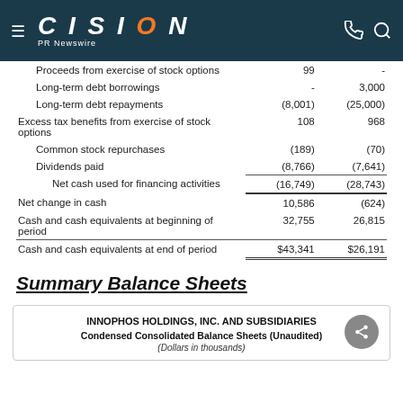CISION PR Newswire
|  | Col1 | Col2 |
| --- | --- | --- |
| Proceeds from exercise of stock options | 99 | - |
| Long-term debt borrowings | - | 3,000 |
| Long-term debt repayments | (8,001) | (25,000) |
| Excess tax benefits from exercise of stock options | 108 | 968 |
| Common stock repurchases | (189) | (70) |
| Dividends paid | (8,766) | (7,641) |
| Net cash used for financing activities | (16,749) | (28,743) |
| Net change in cash | 10,586 | (624) |
| Cash and cash equivalents at beginning of period | 32,755 | 26,815 |
| Cash and cash equivalents at end of period | $43,341 | $26,191 |
Summary Balance Sheets
INNOPHOS HOLDINGS, INC. AND SUBSIDIARIES
Condensed Consolidated Balance Sheets (Unaudited)
(Dollars in thousands)